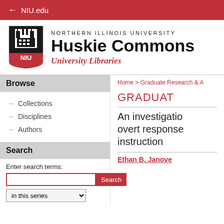← NIU.edu
[Figure (logo): NIU shield logo with castle tower and NIU text in red/black]
NORTHERN ILLINOIS UNIVERSITY Huskie Commons University Libraries
Browse
→ Collections
→ Disciplines
→ Authors
Search
Enter search terms:
in this series
Home > Graduate Research & A
GRADUAT
An investigation overt responses instruction
Ethan B. Janove